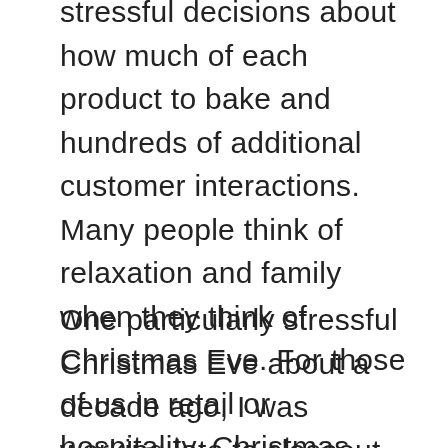stressful decisions about how much of each product to bake and hundreds of additional customer interactions. Many people think of relaxation and family when they think of Christmas Eve. For those of us in retail or hospitality, Christmas Eve means balls to the walls work. While everybody else was listening to Andy Williams sing about, “The Most Wonderful Time of the Year,” I was working my ass off.
One particularly stressful Christmas Eve about a decade ago, I was working late to closeout the Christmas season at the bakery while my wife took our four small